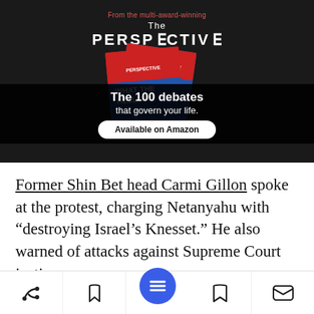[Figure (illustration): Advertisement for 'The Perspective' book by Daniel Ravner. Dark background with book cover showing red/white/blue design and text 'WHAT THE HELL ARE...' Black band overlay with text 'The 100 debates that govern your life.' White pill button 'Available on Amazon'. Top text in red 'From the multi-award-winning', white 'The' and 'PERSPECTIVE' logo.]
Former Shin Bet head Carmi Gillon spoke at the protest, charging Netanyahu with “destroying Israel’s Knesset.” He also warned of attacks against Supreme Court justices,